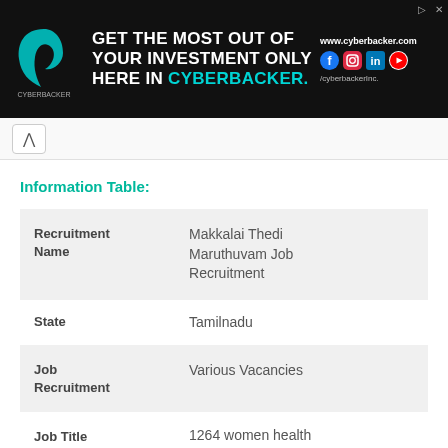[Figure (illustration): Cyberbacker advertisement banner with logo, headline text 'GET THE MOST OUT OF YOUR INVESTMENT ONLY HERE IN CYBERBACKER.' and social media icons, website www.cyberbacker.com]
Information Table:
| Recruitment Name | Makkalai Thedi Maruthuvam Job Recruitment |
| State | Tamilnadu |
| Job Recruitment | Various Vacancies |
| Job Title | 1264 women health worker, 50 physiotherapist and 50 nurses |